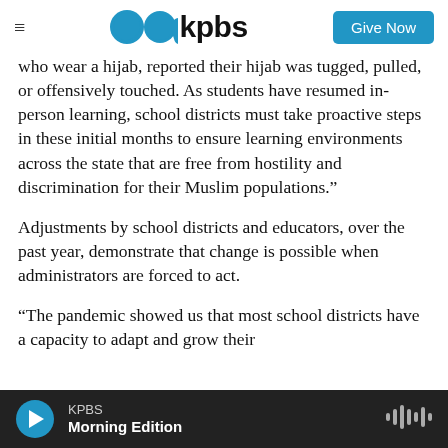kpbs | Give Now
who wear a hijab, reported their hijab was tugged, pulled, or offensively touched. As students have resumed in-person learning, school districts must take proactive steps in these initial months to ensure learning environments across the state that are free from hostility and discrimination for their Muslim populations.”
Adjustments by school districts and educators, over the past year, demonstrate that change is possible when administrators are forced to act.
“The pandemic showed us that most school districts have a capacity to adapt and grow their
KPBS Morning Edition